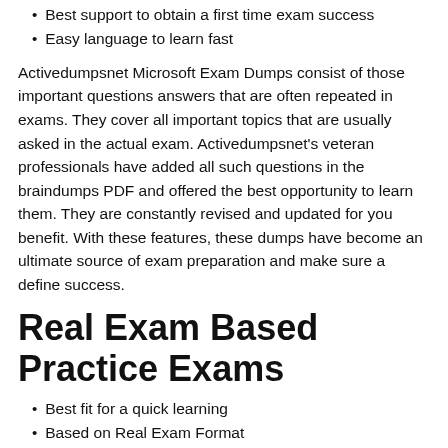Best support to obtain a first time exam success
Easy language to learn fast
Activedumpsnet Microsoft Exam Dumps consist of those important questions answers that are often repeated in exams. They cover all important topics that are usually asked in the actual exam. Activedumpsnet's veteran professionals have added all such questions in the braindumps PDF and offered the best opportunity to learn them. They are constantly revised and updated for you benefit. With these features, these dumps have become an ultimate source of exam preparation and make sure a define success.
Real Exam Based Practice Exams
Best fit for a quick learning
Based on Real Exam Format
Best opportunity to know the real exam questions